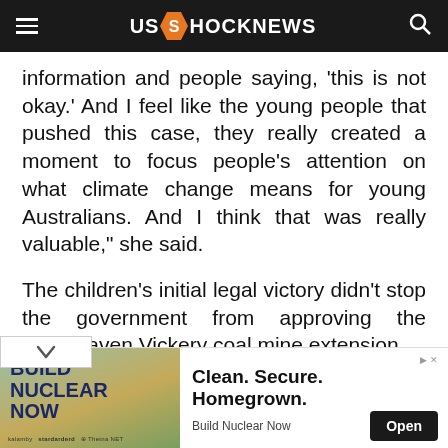US SHOCKNEWS
information and people saying, 'this is not okay.' And I feel like the young people that pushed this case, they really created a moment to focus people's attention on what climate change means for young Australians. And I think that was really valuable," she said.
The children's initial legal victory didn't stop the government from approving the Whitehaven Vickery coal mine extension.
[Figure (other): Advertisement banner for 'Build Nuclear Now' with green/yellow background and bold text on the left, and 'Clean. Secure. Homegrown.' headline with Open button on the right.]